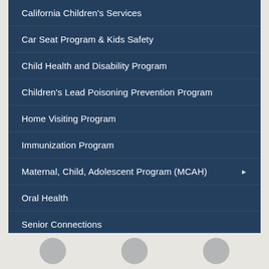California Children's Services
Car Seat Program & Kids Safety
Child Health and Disability Program
Children's Lead Poisoning Prevention Program
Home Visiting Program
Immunization Program
Maternal, Child, Adolescent Program (MCAH)
Oral Health
Senior Connections
[Figure (other): Three circular icon buttons at the bottom of the page on a light gray background]